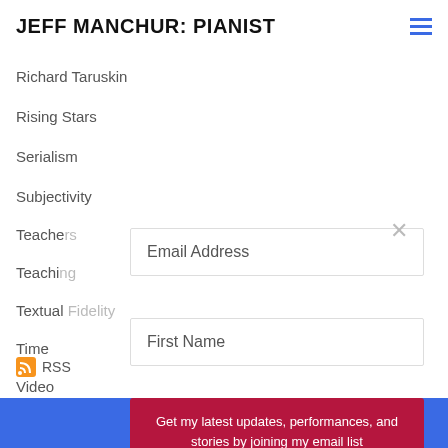JEFF MANCHUR: PIANIST
Richard Taruskin
Rising Stars
Serialism
Subjectivity
Teache[rs]
Teachi[ng]
Textual Fidelity
Time
Video
RSS
Email Address
First Name
Get my latest updates, performances, and stories by joining my email list
BUILT WITH ConvertKit
POWERED BY weebly